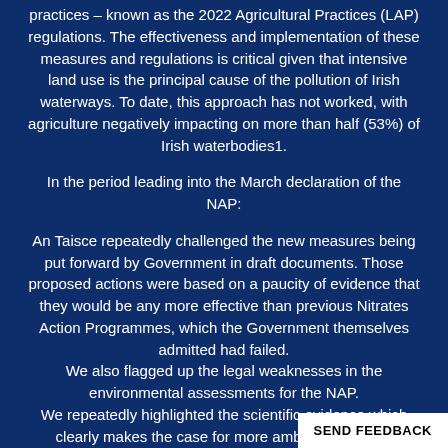practices – known as the 2022 Agricultural Practices (LAP) regulations. The effectiveness and implementation of these measures and regulations is critical given that intensive land use is the principal cause of the pollution of Irish waterways. To date, this approach has not worked, with agriculture negatively impacting on more than half (53%) of Irish waterbodies1.
In the period leading into the March declaration of the NAP:
An Taisce repeatedly challenged the new measures being put forward by Government in draft documents. Those proposed actions were based on a paucity of evidence that they would be any more effective than previous Nitrates Action Programmes, which the Government themselves admitted had failed. We also flagged up the legal weaknesses in the environmental assessments for the NAP. We repeatedly highlighted the scientific evidence which clearly makes the case for more ambitious and far-reaching measures, and far more rigorous assessme...
SEND FEEDBACK